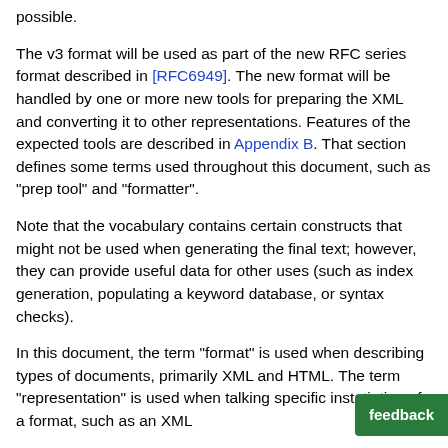possible.
The v3 format will be used as part of the new RFC series format described in [RFC6949]. The new format will be handled by one or more new tools for preparing the XML and converting it to other representations. Features of the expected tools are described in Appendix B. That section defines some terms used throughout this document, such as "prep tool" and "formatter".
Note that the vocabulary contains certain constructs that might not be used when generating the final text; however, they can provide useful data for other uses (such as index generation, populating a keyword database, or syntax checks).
In this document, the term "format" is used when describing types of documents, primarily XML and HTML. The term "representation" is used when talking specific instatiation of a format, such as an XML...